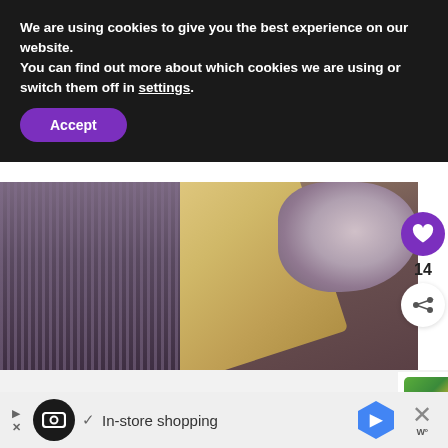We are using cookies to give you the best experience on our website.
You can find out more about which cookies we are using or switch them off in settings.
Accept
[Figure (photo): Close-up photo of a wooden cutting board on a dark brown/purple fabric, with rocks or stones visible in the upper right corner.]
14
WHAT'S NEXT → An Unpaid Review of...
[Figure (photo): Photo of green jalapeño peppers on a bamboo cutting board with a gray cloth underneath.]
In-store shopping